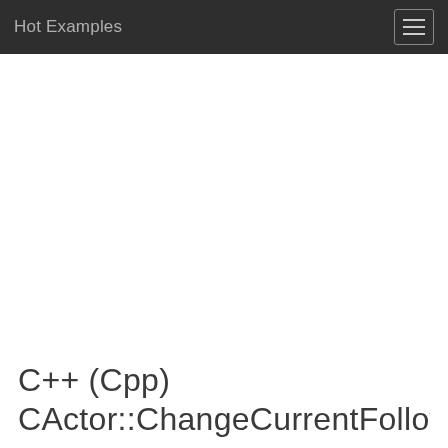Hot Examples
C++ (Cpp)
CActor::ChangeCurrentFollowCa